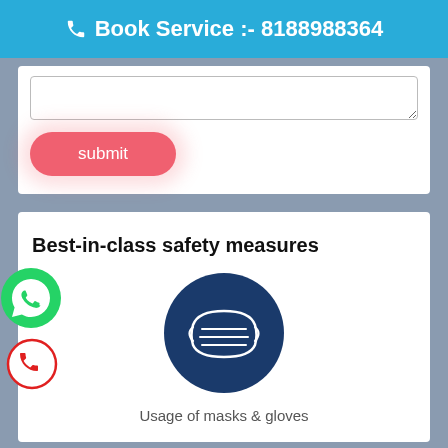Book Service :- 8188988364
[Figure (screenshot): Text area input box with resize handle, partial view]
submit
Best-in-class safety measures
[Figure (illustration): Dark blue circle with white face mask icon]
Usage of masks & gloves
[Figure (logo): Green WhatsApp phone icon button floating on left side]
[Figure (logo): Red phone call icon button floating on left side]